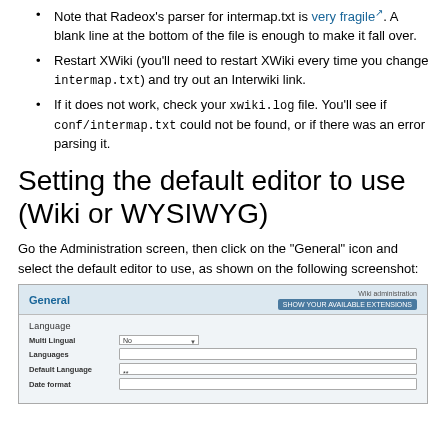Note that Radeox's parser for intermap.txt is very fragile. A blank line at the bottom of the file is enough to make it fall over.
Restart XWiki (you'll need to restart XWiki every time you change intermap.txt) and try out an Interwiki link.
If it does not work, check your xwiki.log file. You'll see if conf/intermap.txt could not be found, or if there was an error parsing it.
Setting the default editor to use (Wiki or WYSIWYG)
Go the Administration screen, then click on the "General" icon and select the default editor to use, as shown on the following screenshot:
[Figure (screenshot): Screenshot of XWiki Administration General settings panel showing Language section with Multi Lingual, Languages, Default Language, and Date format fields.]